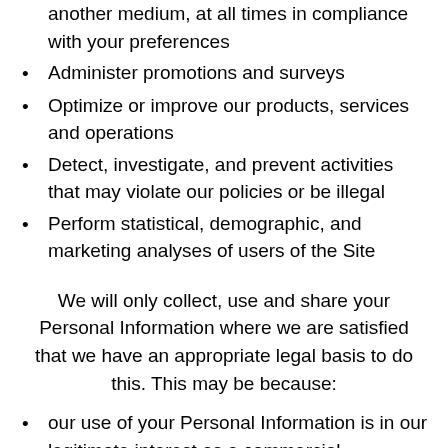another medium, at all times in compliance with your preferences
Administer promotions and surveys
Optimize or improve our products, services and operations
Detect, investigate, and prevent activities that may violate our policies or be illegal
Perform statistical, demographic, and marketing analyses of users of the Site
We will only collect, use and share your Personal Information where we are satisfied that we have an appropriate legal basis to do this. This may be because:
our use of your Personal Information is in our legitimate interest as a commercial organisation, for example to contact you when